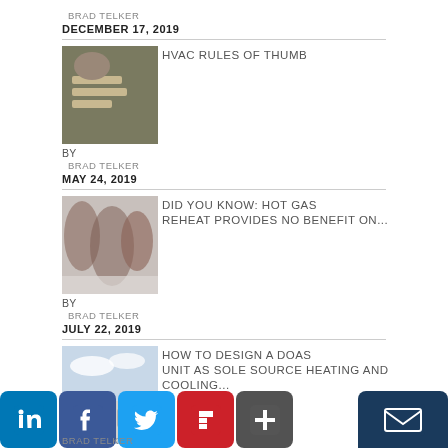BRAD TELKER
DECEMBER 17, 2019
[Figure (photo): Person writing or working at a desk, close-up of hands and paper]
HVAC RULES OF THUMB
BY
BRAD TELKER
MAY 24, 2019
[Figure (photo): Blurry outdoor scene with trees and branches]
DID YOU KNOW: HOT GAS REHEAT PROVIDES NO BENEFIT ON...
BY
BRAD TELKER
JULY 22, 2019
[Figure (photo): HVAC equipment unit with blue sky background]
HOW TO DESIGN A DOAS UNIT AS SOLE SOURCE HEATING AND COOLING...
BRAD TELKER